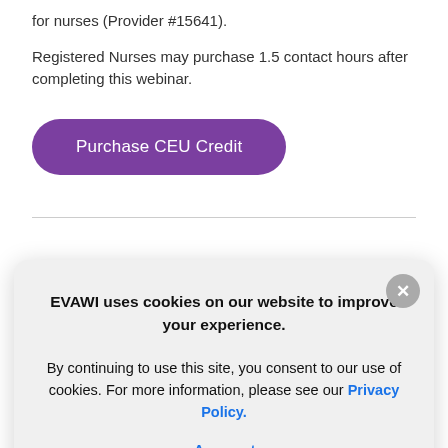for nurses (Provider #15641).
Registered Nurses may purchase 1.5 contact hours after completing this webinar.
Purchase CEU Credit
EVAWI uses cookies on our website to improve your experience.
By continuing to use this site, you consent to our use of cookies. For more information, please see our Privacy Policy.
Accept